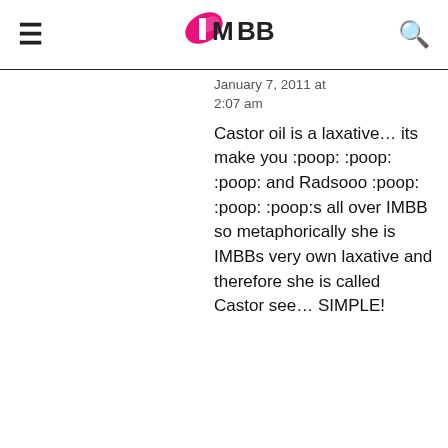IMBB
January 7, 2011 at 2:07 am
Castor oil is a laxative… its make you :poop: :poop: :poop: and Radsooo :poop: :poop: :poop:s all over IMBB so metaphorically she is IMBBs very own laxative and therefore she is called Castor see… SIMPLE!